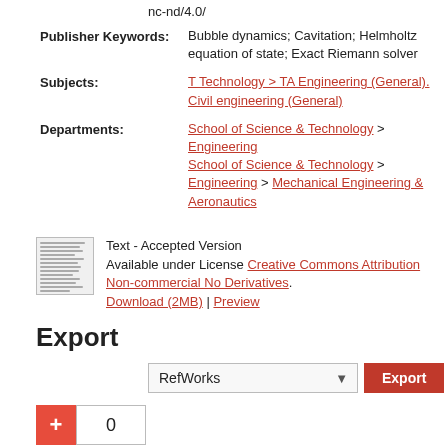nc-nd/4.0/
Publisher Keywords: Bubble dynamics; Cavitation; Helmholtz equation of state; Exact Riemann solver
Subjects: T Technology > TA Engineering (General). Civil engineering (General)
Departments: School of Science & Technology > Engineering
School of Science & Technology > Engineering > Mechanical Engineering & Aeronautics
Text - Accepted Version
Available under License Creative Commons Attribution Non-commercial No Derivatives.
Download (2MB) | Preview
Export
RefWorks [dropdown] Export button
0